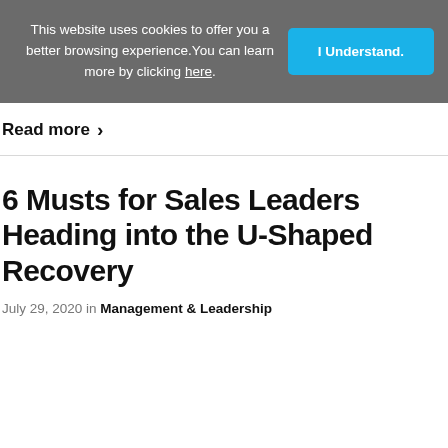This website uses cookies to offer you a better browsing experience. You can learn more by clicking here.
I Understand.
Read more >
6 Musts for Sales Leaders Heading into the U-Shaped Recovery
July 29, 2020 in Management & Leadership